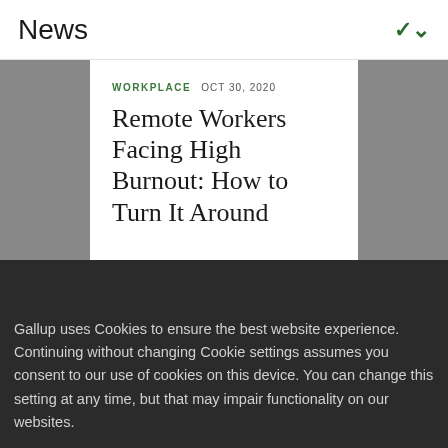News
WORKPLACE  OCT 30, 2020
Remote Workers Facing High Burnout: How to Turn It Around
CLOSE
Gallup uses Cookies to ensure the best website experience. Continuing without changing Cookie settings assumes you consent to our use of cookies on this device. You can change this setting at any time, but that may impair functionality on our websites.
Privacy Statement   Site Terms of Use and Sale
Product Terms of Use   Adjust your cookie settings.